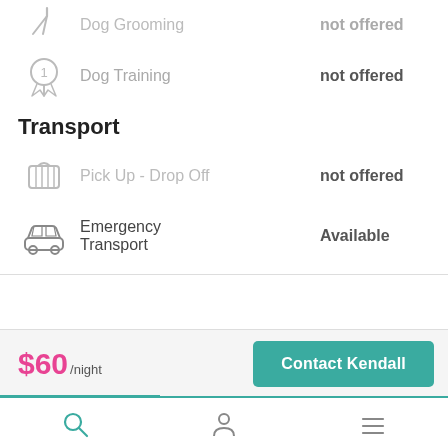Dog Grooming — not offered
Dog Training — not offered
Transport
Pick Up - Drop Off — not offered
Emergency Transport — Available
$60/night
Contact Kendall